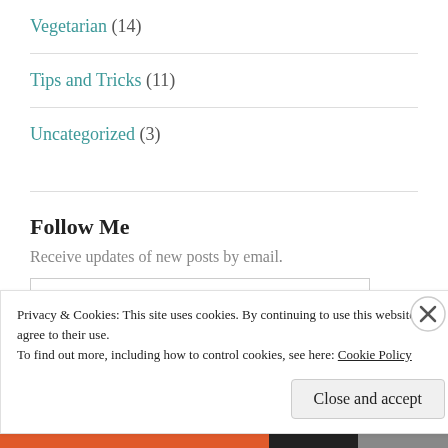Vegetarian (14)
Tips and Tricks (11)
Uncategorized (3)
Follow Me
Receive updates of new posts by email.
Enter your email address
Privacy & Cookies: This site uses cookies. By continuing to use this website, you agree to their use.
To find out more, including how to control cookies, see here: Cookie Policy
Close and accept